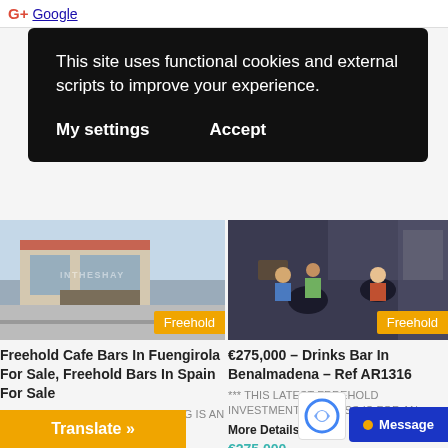G+ Google
This site uses functional cookies and external scripts to improve your experience.
My settings   Accept
[Figure (photo): Street view of a cafe bar exterior]
Freehold
Freehold Cafe Bars In Fuengirola For Sale, Freehold Bars In Spain For Sale
*** THIS LATEST BUSINESS LISTING IS AN EXCELLENT OPPORTUNITY...
More Details ▶
[Figure (photo): Interior of a drinks bar with patrons seated at tables]
Freehold
€275,000 – Drinks Bar In Benalmadena – Ref AR1316
*** THIS LATEST FRREHOLD INVESTMENT BUSINESS IS FOR AN... More Details ▶
€275,000
Translate »
Message